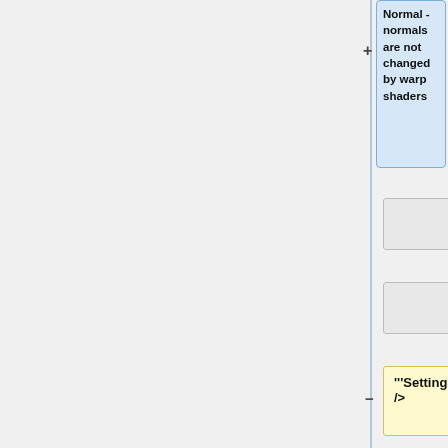Normal - normals are not changed by warp shaders
'''Settings:'''<br />
See also: [[Warp Input Shader]]
<ul>
<li>
'''Warper:''' The shader attached to this input generates the warp or distortion which effects the node attached to the '''Shader''' input.